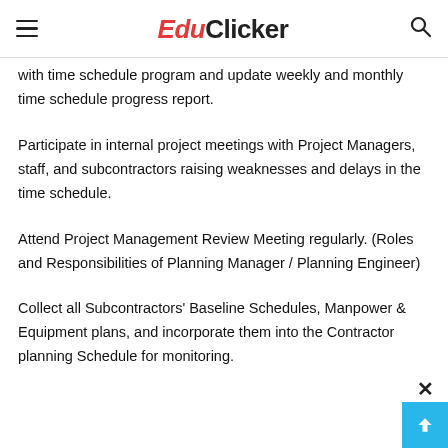EduClicker
with time schedule program and update weekly and monthly time schedule progress report.
Participate in internal project meetings with Project Managers, staff, and subcontractors raising weaknesses and delays in the time schedule.
Attend Project Management Review Meeting regularly. (Roles and Responsibilities of Planning Manager / Planning Engineer)
Collect all Subcontractors' Baseline Schedules, Manpower & Equipment plans, and incorporate them into the Contractor planning Schedule for monitoring.